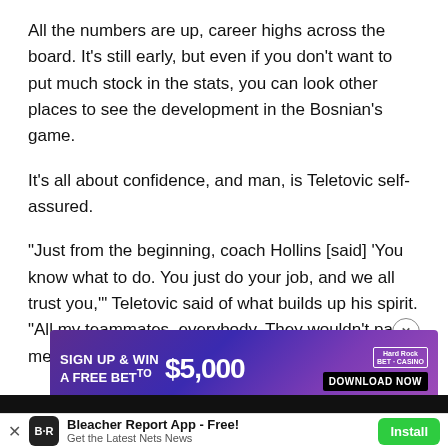All the numbers are up, career highs across the board. It's still early, but even if you don't want to put much stock in the stats, you can look other places to see the development in the Bosnian's game.
It's all about confidence, and man, is Teletovic self-assured.
"Just from the beginning, coach Hollins [said] 'You know what to do. You just do your job, and we all trust you,'" Teletovic said of what builds up his spirit. "All my teammates, everybody. They wouldn't pass me the ball if it wasn't like that."
[Figure (infographic): Advertisement banner: Hard Rock Bet - Sign Up & Win A Free Bet $5,000 - Download Now]
Bleacher Report App - Free! Get the Latest Nets News  Install